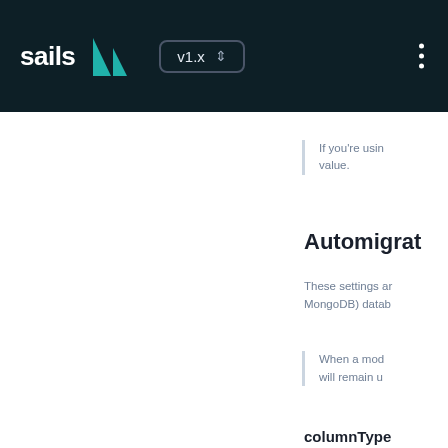sails v1.x
If you're usin value.
Automigrat
These settings ar MongoDB) datab
When a mod will remain u
columnType
Indicates the typ table. This ll